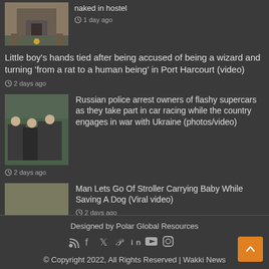[Figure (photo): Small thumbnail image of a building/compound]
naked in hostel
1 day ago
Little boy's hands tied after being accused of being a wizard and turning 'from a rat to a human being' in Port Harcourt (video)
2 days ago
[Figure (photo): Image of people including police in an outdoor scene]
Russian police arrest owners of flashy supercars as they take part in car racing while the country engages in war with Ukraine (photos/video)
2 days ago
[Figure (photo): Aerial view of a parking lot or outdoor area with a vehicle]
Man Lets Go Of Stroller Carrying Baby While Saving A Dog (Viral video)
2 days ago
Designed by Polar Global Resources
© Copyright 2022, All Rights Reserved | Wakki News